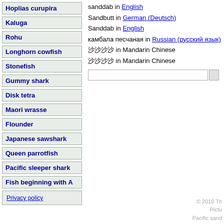Hoplias curupira
Kaluga
Rohu
Longhorn cowfish
Stonefish
Gummy shark
Disk tetra
Maori wrasse
Flounder
Japanese sawshark
Queen parrotfish
Pacific sleeper shark
Fish beginning with A
sanddab in English
Sandbutt in German (Deutsch)
Sanddab in English
камбала песчаная in Russian (русский язык)
沙氏 in Mandarin Chinese
沙氏 in Mandarin Chinese
Privacy policy
© 2010 Th... Pictu... Pacific sand...